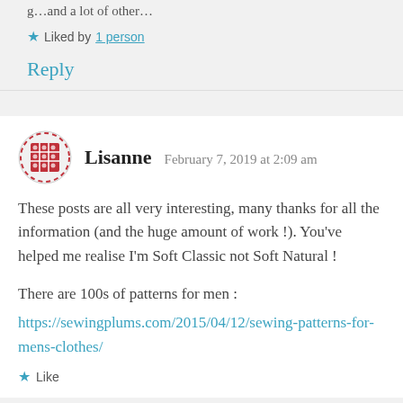g…and a lot of other…
★ Liked by 1 person
Reply
Lisanne    February 7, 2019 at 2:09 am
These posts are all very interesting, many thanks for all the information (and the huge amount of work !). You've helped me realise I'm Soft Classic not Soft Natural !
There are 100s of patterns for men :
https://sewingplums.com/2015/04/12/sewing-patterns-for-mens-clothes/
★ Like